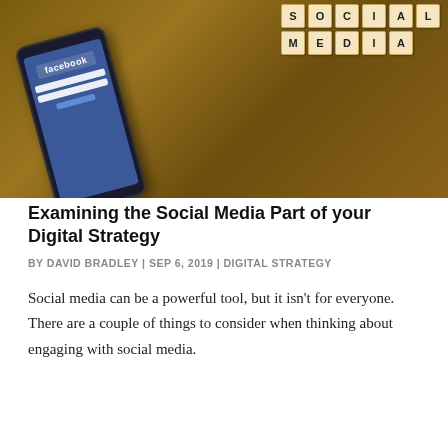[Figure (photo): A smartphone displaying the Facebook login screen lying on a wooden table next to Scrabble tiles spelling out 'SOCIAL MEDIA']
Examining the Social Media Part of your Digital Strategy
BY DAVID BRADLEY | SEP 6, 2019 | DIGITAL STRATEGY
Social media can be a powerful tool, but it isn't for everyone. There are a couple of things to consider when thinking about engaging with social media.